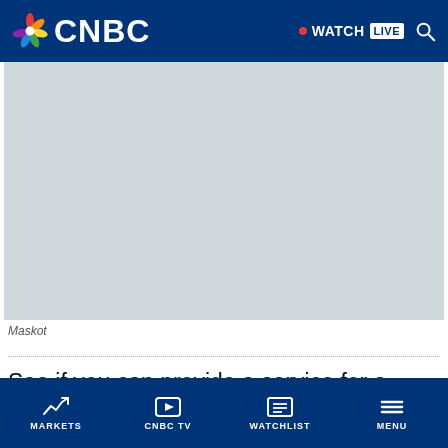CNBC | WATCH LIVE
[Figure (photo): Light blue-grey placeholder image area (video or photo content placeholder)]
Maskot
See if you can provide a service for a business in your community
MARKETS | CNBC TV | WATCHLIST | MENU